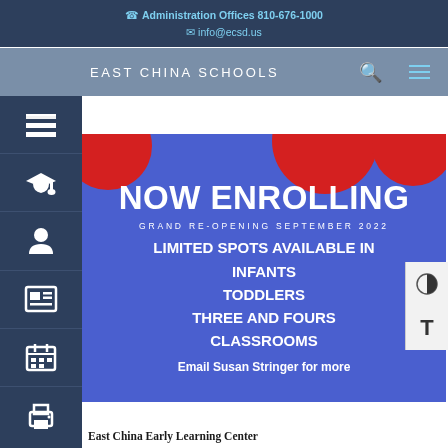Administration Offices 810-676-1000
info@ecsd.us
EAST CHINA SCHOOLS
[Figure (infographic): School enrollment promotional banner with blue background and red circles. Text reads: NOW ENROLLING / GRAND RE-OPENING SEPTEMBER 2022 / LIMITED SPOTS AVAILABLE IN INFANTS TODDLERS THREE AND FOURS CLASSROOMS / Email Susan Stringer for more]
East China Early Learning Center